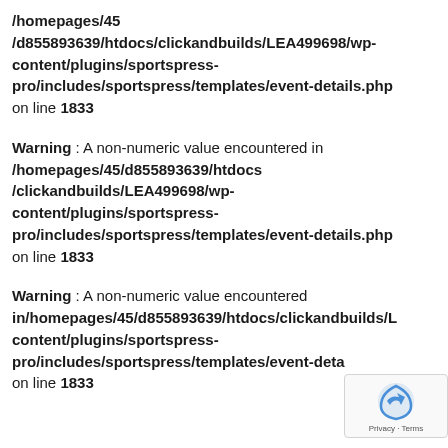/homepages/45 /d855893639/htdocs/clickandbuilds/LEA499698/wp-content/plugins/sportspress-pro/includes/sportspress/templates/event-details.php on line 1833
Warning : A non-numeric value encountered in /homepages/45/d855893639/htdocs /clickandbuilds/LEA499698/wp-content/plugins/sportspress-pro/includes/sportspress/templates/event-details.php on line 1833
Warning : A non-numeric value encountered in/homepages/45/d855893639/htdocs/clickandbuilds/L content/plugins/sportspress-pro/includes/sportspress/templates/event-deta on line 1833